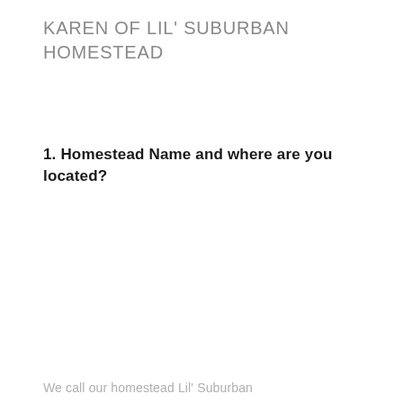KAREN OF LIL' SUBURBAN HOMESTEAD
1. Homestead Name and where are you located?
We call our homestead Lil' Suburban